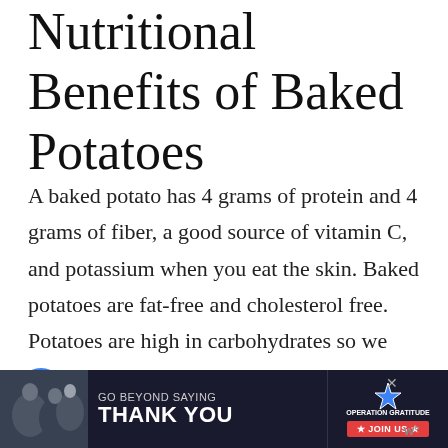Nutritional Benefits of Baked Potatoes
A baked potato has 4 grams of protein and 4 grams of fiber, a good source of vitamin C, and potassium when you eat the skin. Baked potatoes are fat-free and cholesterol free. Potatoes are high in carbohydrates so we only eat them when they just are the best side dish for the dinner we are having.   We love baked potatoes when we have a stake or baked chicken.
[Figure (other): Advertisement banner: GO BEYOND SAYING THANK YOU - Operation Gratitude JOIN US]